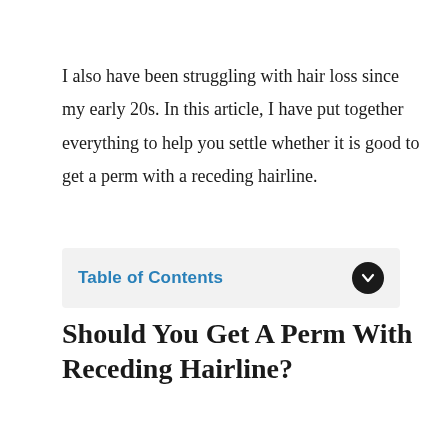I also have been struggling with hair loss since my early 20s. In this article, I have put together everything to help you settle whether it is good to get a perm with a receding hairline.
Table of Contents
Should You Get A Perm With Receding Hairline?